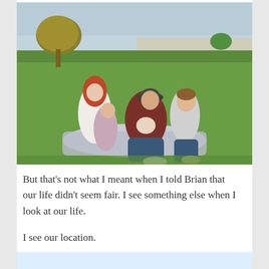[Figure (photo): A family of five sitting on a blanket on a green grassy field outdoors. A woman with long red hair in a white top sits on the left with a young girl in a floral dress. A man in a dark cap and maroon shirt sits in the middle holding a baby. An older boy in a light sweater sits on the right laughing. Trees and a coastal landscape are visible in the background.]
But that’s not what I meant when I told Brian that our life didn’t seem fair. I see something else when I look at our life.
I see our location.